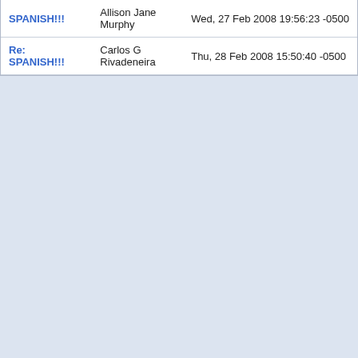| Subject | Sender | Date |
| --- | --- | --- |
| SPANISH!!! | Allison Jane Murphy | Wed, 27 Feb 2008 19:56:23 -0500 |
| Re: SPANISH!!! | Carlos G Rivadeneira | Thu, 28 Feb 2008 15:50:40 -0500 |